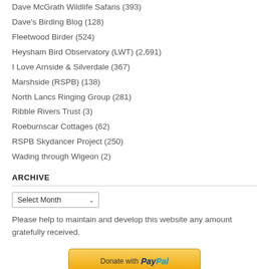Dave McGrath Wildlife Safaris (393)
Dave's Birding Blog (128)
Fleetwood Birder (524)
Heysham Bird Observatory (LWT) (2,691)
I Love Arnside & Silverdale (367)
Marshside (RSPB) (138)
North Lancs Ringing Group (281)
Ribble Rivers Trust (3)
Roeburnscar Cottages (62)
RSPB Skydancer Project (250)
Wading through Wigeon (2)
ARCHIVE
Select Month
Please help to maintain and develop this website any amount gratefully received.
[Figure (other): Donate with PayPal button]